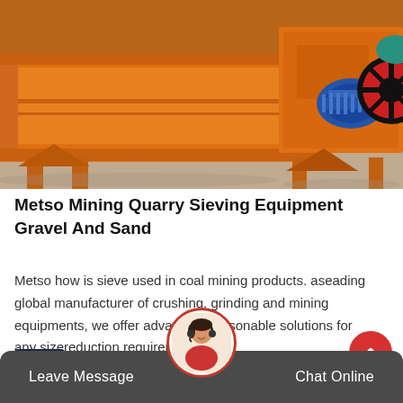[Figure (photo): Orange industrial mining/quarry sieving equipment with blue electric motor and red pulley wheel, photographed outdoors on a concrete surface.]
Metso Mining Quarry Sieving Equipment Gravel And Sand
Metso how is sieve used in coal mining products. aseading global manufacturer of crushing, grinding and mining equipments, we offer advanced, reasonable solutions for any sizereduction requiremen
Leave Message   Chat Online